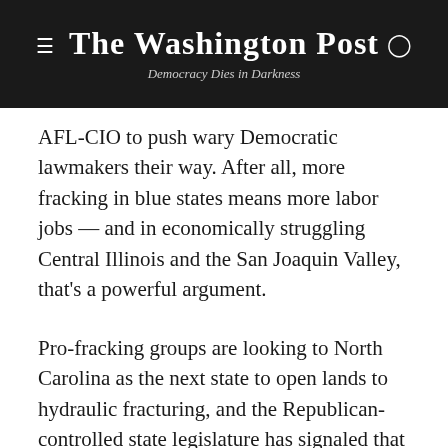The Washington Post — Democracy Dies in Darkness
AFL-CIO to push wary Democratic lawmakers their way. After all, more fracking in blue states means more labor jobs — and in economically struggling Central Illinois and the San Joaquin Valley, that's a powerful argument.
Pro-fracking groups are looking to North Carolina as the next state to open lands to hydraulic fracturing, and the Republican-controlled state legislature has signaled that it will take up the issue next year. And both sides are closely watching New York, where Gov. Andrew Cuomo (D) is considering his options on a pending moratorium.